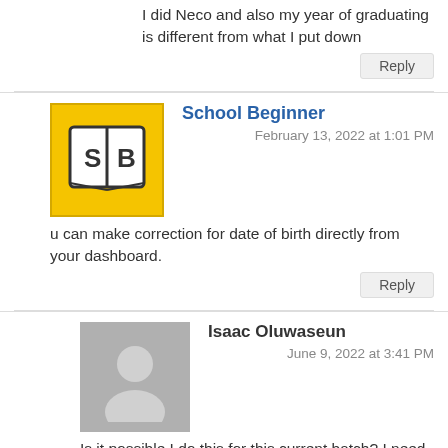I did Neco and also my year of graduating is different from what I put down
Reply
School Beginner
February 13, 2022 at 1:01 PM
u can make correction for date of birth directly from your dashboard.
Reply
Isaac Oluwaseun
June 9, 2022 at 3:41 PM
Is it possible I do this for this current batch? I need help